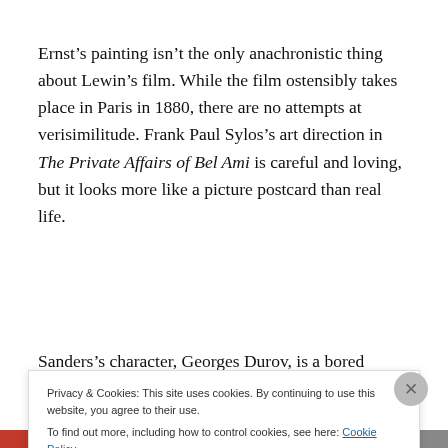Ernst's painting isn't the only anachronistic thing about Lewin's film. While the film ostensibly takes place in Paris in 1880, there are no attempts at verisimilitude. Frank Paul Sylos's art direction in The Private Affairs of Bel Ami is careful and loving, but it looks more like a picture postcard than real life.
Sanders's character, Georges Duroy, is a bored habitué of
Privacy & Cookies: This site uses cookies. By continuing to use this website, you agree to their use.
To find out more, including how to control cookies, see here: Cookie Policy